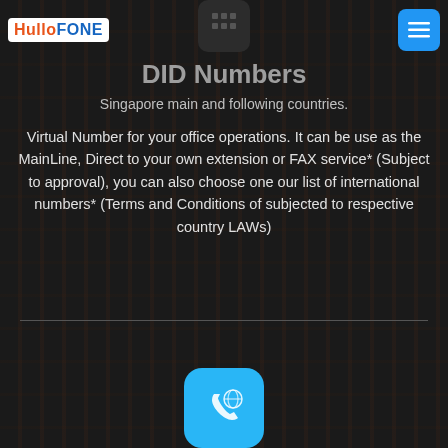HulloFONE — navigation header with logo and menu button
[Figure (illustration): Dark rounded rectangle icon resembling a device/phone top-center]
DID Numbers
Singapore main and following countries.
Virtual Number for your office operations. It can be use as the MainLine, Direct to your own extension or FAX service* (Subject to approval), you can also choose one our list of international numbers* (Terms and Conditions of subjected to respective country LAWs)
[Figure (illustration): Light blue rounded square icon with phone and globe symbol at bottom center]